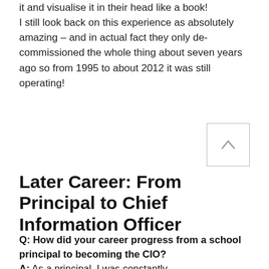it and visualise it in their head like a book!
I still look back on this experience as absolutely amazing – and in actual fact they only de-commissioned the whole thing about seven years ago so from 1995 to about 2012 it was still operating!
Later Career: From Principal to Chief Information Officer
Q: How did your career progress from a school principal to becoming the CIO?
A: As a principal, I was constantly